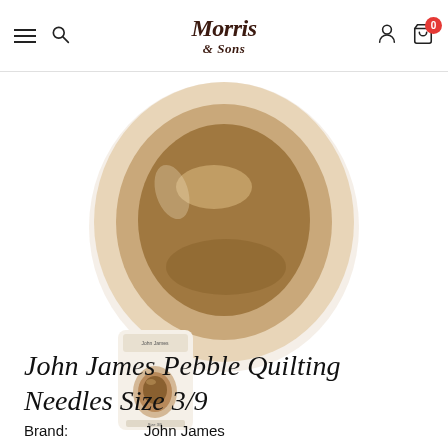Morris & Sons
[Figure (photo): Close-up top-down view of a pebble/thimble shaped quilting needle product packaging, showing an oval egg-shaped form in warm beige/tan tones with shadow]
[Figure (photo): Thumbnail image of John James Pebble Quilting Needles packaging – small oval card with needles visible inside]
John James Pebble Quilting Needles Size 3/9
Brand: John James